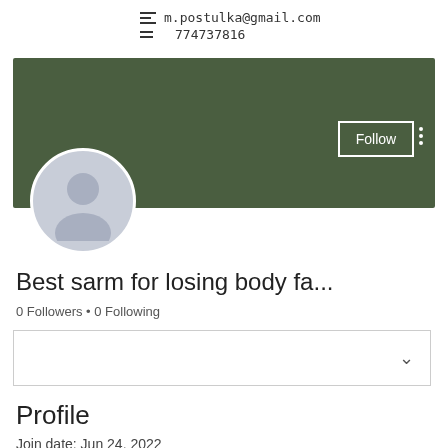m.postulka@gmail.com  774737816
[Figure (screenshot): User profile page with green banner background, circular avatar placeholder, Follow button, and three-dot menu]
Best sarm for losing body fa...
0 Followers • 0 Following
Profile
Join date: Jun 24, 2022
About